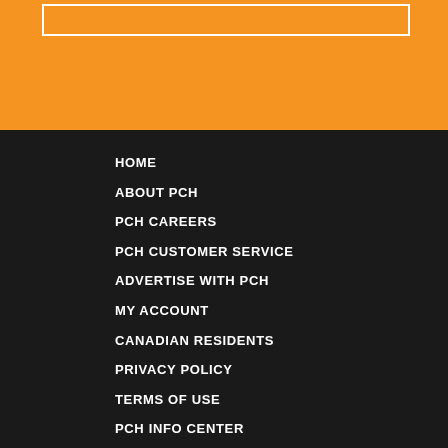[Figure (other): Orange banner at top with white inner border rectangle]
HOME
ABOUT PCH
PCH CAREERS
PCH CUSTOMER SERVICE
ADVERTISE WITH PCH
MY ACCOUNT
CANADIAN RESIDENTS
PRIVACY POLICY
TERMS OF USE
PCH INFO CENTER